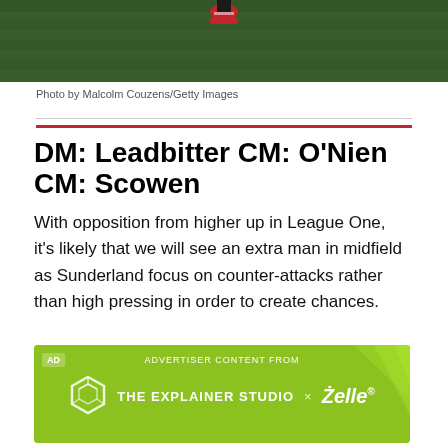[Figure (photo): Top portion of a sports/football image showing green grass pitch with a player's red-cleated feet visible at the top center]
Photo by Malcolm Couzens/Getty Images
DM: Leadbitter CM: O'Nien CM: Scowen
With opposition from higher up in League One, it's likely that we will see an extra man in midfield as Sunderland focus on counter-attacks rather than high pressing in order to create chances.
[Figure (infographic): Advertisement banner with yellow-green background. Label 'AD' in top left. Text reads 'ADVERTISER CONTENT FROM' centered at top. Logo area shows a geometric hexagon outline icon, text 'THE EXPLAINER STUDIO', an 'x', and the Zelle logo in white.]